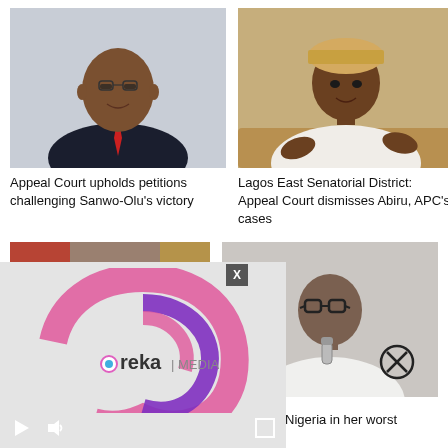[Figure (photo): Headshot of a man in a dark suit with a red striped tie, smiling, against a light background]
Appeal Court upholds petitions challenging Sanwo-Olu's victory
[Figure (photo): Man in white traditional Nigerian attire and a beige cap, gesturing with hands, seated]
Lagos East Senatorial District: Appeal Court dismisses Abiru, APC's cases
[Figure (photo): Bottom-left news card photo showing figures near curtains/flags]
[Figure (logo): Ureka Media logo — pink and purple swirl with text 'ureka | MEDIA' on gray background, with video playback controls]
[Figure (photo): Man in white clothing with large glasses, holding a microphone, with a circled X button overlay]
koh
kah @ 70: Nigeria in her worst